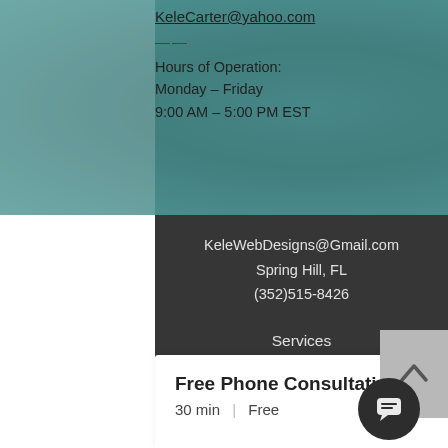KeleCarter@yahoo.com
Hours of Operation:
Monday – Friday
9:00 AM – 5:00 PM EST
KeleWebDesigns@Gmail.com
Spring Hill, FL
(352)515-8426
Services
Terms and Conditions
Privacy
FAQ
Contact
Free Phone Consultation
30 min  |  Free